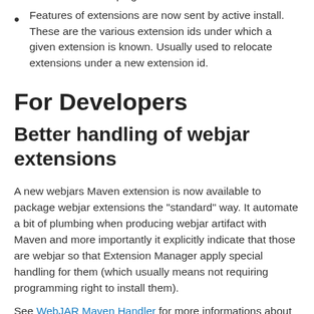consider requests that don't have a User Agent set as being "spammy" request and blocks them. This makes the Active Installs ping module a better citizen.
Features of extensions are now sent by active install. These are the various extension ids under which a given extension is known. Usually used to relocate extensions under a new extension id.
For Developers
Better handling of webjar extensions
A new webjars Maven extension is now available to package webjar extensions the "standard" way. It automate a bit of plumbing when producing webjar artifact with Maven and more importantly it explicitly indicate that those are webjar so that Extension Manager apply special handling for them (which usually means not requiring programming right to install them).
See WebJAR Maven Handler for more informations about the Maven plugin.